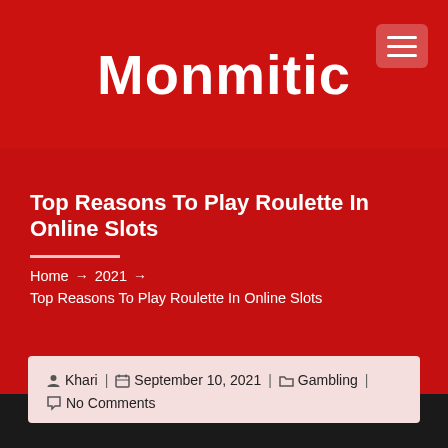Monmitic
Top Reasons To Play Roulette In Online Slots
Home → 2021 → Top Reasons To Play Roulette In Online Slots
Khari | September 10, 2021 | Gambling | No Comments